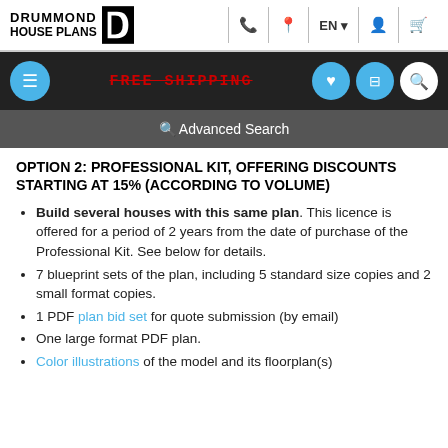DRUMMOND HOUSE PLANS
OPTION 2: PROFESSIONAL KIT, OFFERING DISCOUNTS STARTING AT 15% (ACCORDING TO VOLUME)
Build several houses with this same plan. This licence is offered for a period of 2 years from the date of purchase of the Professional Kit. See below for details.
7 blueprint sets of the plan, including 5 standard size copies and 2 small format copies.
1 PDF plan bid set for quote submission (by email)
One large format PDF plan.
Color illustrations of the model and its floorplan(s)